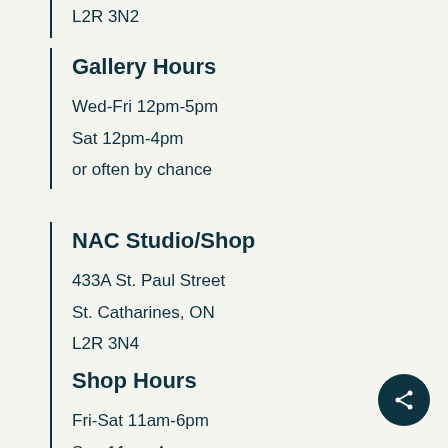L2R 3N2
Gallery Hours
Wed-Fri 12pm-5pm
Sat 12pm-4pm
or often by chance
NAC Studio/Shop
433A St. Paul Street
St. Catharines, ON
L2R 3N4
Shop Hours
Fri-Sat 11am-6pm
Sun 11am-4pm